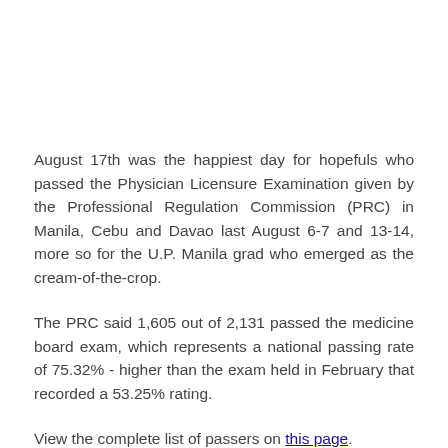August 17th was the happiest day for hopefuls who passed the Physician Licensure Examination given by the Professional Regulation Commission (PRC) in Manila, Cebu and Davao last August 6-7 and 13-14, more so for the U.P. Manila grad who emerged as the cream-of-the-crop.
The PRC said 1,605 out of 2,131 passed the medicine board exam, which represents a national passing rate of 75.32% - higher than the exam held in February that recorded a 53.25% rating.
View the complete list of passers on this page.
Mark Onglao of the University of the Philippines-Manila came in at 1st place with a rating of 88.42%. At 2nd place